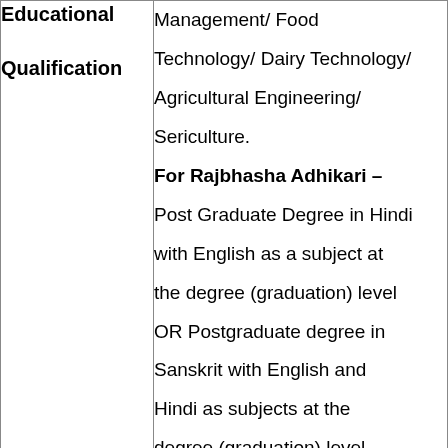| Educational Qualification | Details |
| --- | --- |
| Educational
Qualification | Management/ Food Technology/ Dairy Technology/ Agricultural Engineering/ Sericulture.
For Rajbhasha Adhikari –
Post Graduate Degree in Hindi with English as a subject at the degree (graduation) level OR Postgraduate degree in Sanskrit with English and Hindi as subjects at the degree (graduation) level.
For Office... |